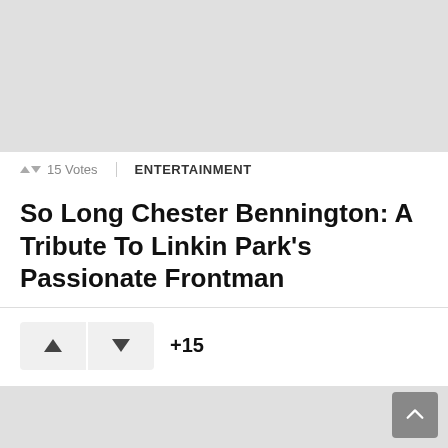[Figure (photo): Gray placeholder image at top of article page]
↑↓ 15 Votes
ENTERTAINMENT
So Long Chester Bennington: A Tribute To Linkin Park's Passionate Frontman
+15
[Figure (photo): Gray placeholder image at bottom of article page]